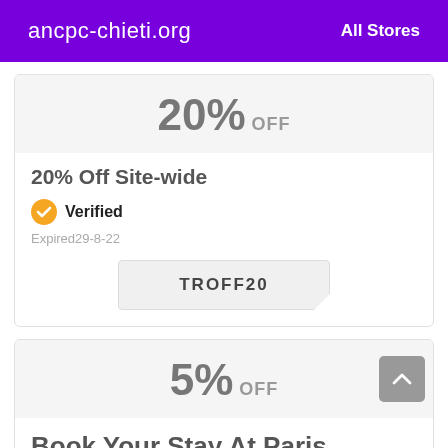ancpc-chieti.org   All Stores
20% OFF
20% Off Site-wide
Verified
Expired29-8-22
TROFF20
5% OFF
Book Your Stay At Paris Hollywood Las Vegas And Receive An Additional 5% Off Travel Now Through October 25,